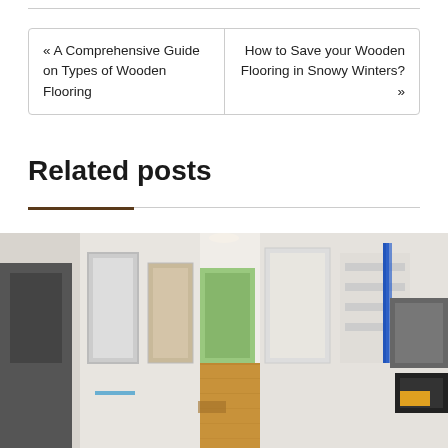« A Comprehensive Guide on Types of Wooden Flooring
How to Save your Wooden Flooring in Snowy Winters? »
Related posts
[Figure (photo): Interior room photo showing a bright open plan living area with warm wooden floors, white walls, open doorways, built-in shelving, and some furniture/items being moved. A blue ladder/tool is visible in the right background.]